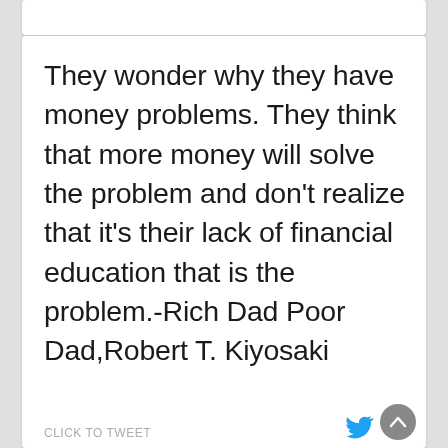They wonder why they have money problems. They think that more money will solve the problem and don't realize that it's their lack of financial education that is the problem.-Rich Dad Poor Dad,Robert T. Kiyosaki
CLICK TO TWEET